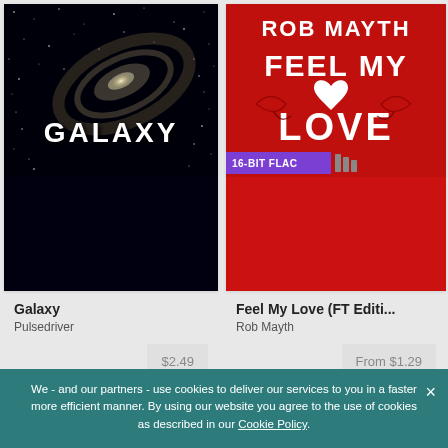[Figure (photo): Album cover for Galaxy by Pulsedriver — dark space/galaxy image with the word GALAXY in white stylized text]
[Figure (photo): Album cover for Feel My Love (FT Edition) by Rob Mayth — red background with ROB MAYTH FEEL MY LOVE in white text and decorative flourishes, with a 16-BIT FLAC badge]
Galaxy
Pulsedriver
$2.49
Feel My Love (FT Editi...
Rob Mayth
From $1.29
We - and our partners - use cookies to deliver our services to you in a faster more efficient manner. By using our website you agree to the use of cookies as described in our Cookie Policy.